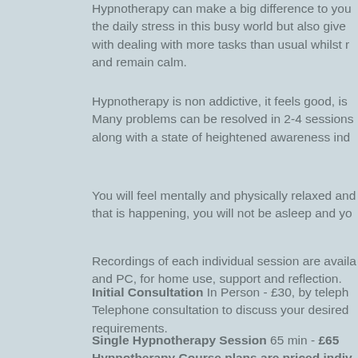Hypnotherapy can make a big difference to you the daily stress in this busy world but also give with dealing with more tasks than usual whilst r and remain calm.
Hypnotherapy is non addictive, it feels good, is Many problems can be resolved in 2-4 sessions along with a state of heightened awareness ind
You will feel mentally and physically relaxed and that is happening, you will not be asleep and yo
Recordings of each individual session are availa and PC, for home use, support and reflection.
Initial Consultation In Person - £30, by teleph Telephone consultation to discuss your desired requirements.
Single Hypnotherapy Session 65 min - £65
Hypnotherapy Course plans are priced indiv